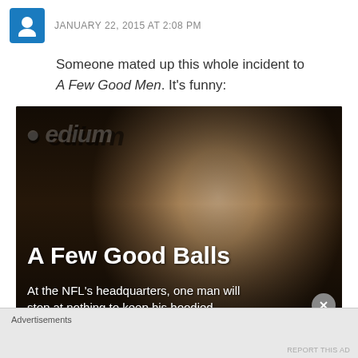JANUARY 22, 2015 AT 2:08 PM
Someone mated up this whole incident to A Few Good Men. It's funny:
[Figure (screenshot): Screenshot of a Medium article thumbnail titled 'A Few Good Balls' showing a close-up photo of a man's face (Bill Belichick) with text 'At the NFL's headquarters, one man will stop at nothing to keep his hoodied' and a watermark reading 'medium' in the top left corner. A close button (X) appears in the bottom right.]
Advertisements